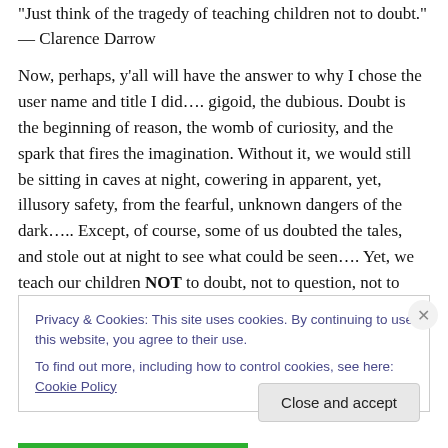"Just think of the tragedy of teaching children not to doubt." — Clarence Darrow
Now, perhaps, y'all will have the answer to why I chose the user name and title I did…. gigoid, the dubious. Doubt is the beginning of reason, the womb of curiosity, and the spark that fires the imagination. Without it, we would still be sitting in caves at night, cowering in apparent, yet, illusory safety, from the fearful, unknown dangers of the dark….. Except, of course, some of us doubted the tales, and stole out at night to see what could be seen…. Yet, we teach our children NOT to doubt, not to question, not to
Privacy & Cookies: This site uses cookies. By continuing to use this website, you agree to their use.
To find out more, including how to control cookies, see here: Cookie Policy
Close and accept